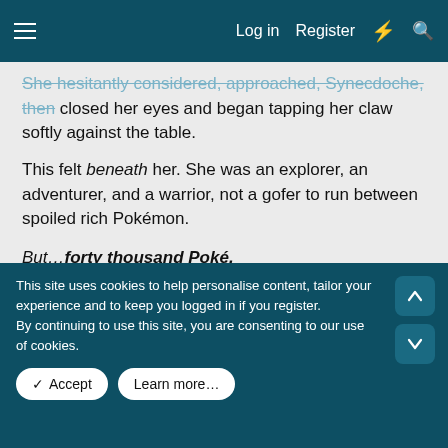≡  Log in  Register  ⚡  🔍
She hesitantly considered, approached, Synecdoche, then closed her eyes and began tapping her claw softly against the table.
This felt beneath her. She was an explorer, an adventurer, and a warrior, not a gofer to run between spoiled rich Pokémon.
But…forty thousand Poké.
That was a lot of cash…
Not to mention the possibility of a bonus.
She opened her eyes, then took a deep breath and released it.
This site uses cookies to help personalise content, tailor your experience and to keep you logged in if you register. By continuing to use this site, you are consenting to our use of cookies. Accept  Learn more…